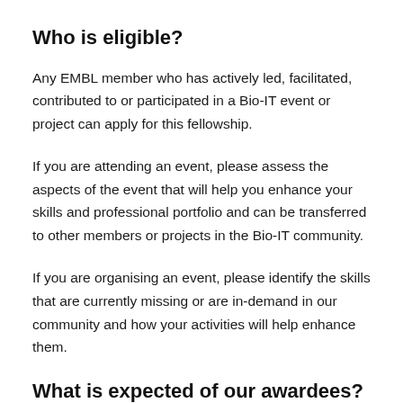Who is eligible?
Any EMBL member who has actively led, facilitated, contributed to or participated in a Bio-IT event or project can apply for this fellowship.
If you are attending an event, please assess the aspects of the event that will help you enhance your skills and professional portfolio and can be transferred to other members or projects in the Bio-IT community.
If you are organising an event, please identify the skills that are currently missing or are in-demand in our community and how your activities will help enhance them.
What is expected of our awardees?
We want to promote the culture of sharing, therefore as an